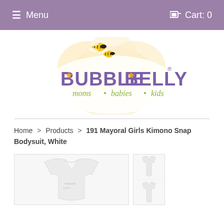Menu   Cart: 0
[Figure (logo): Bubble Belly logo with bees and flower - moms · babies · kids]
Home > Products > 191 Mayoral Girls Kimono Snap Bodysuit, White
[Figure (photo): Main product photo of white kimono snap bodysuit]
[Figure (photo): Thumbnail product photo of white bodysuit]